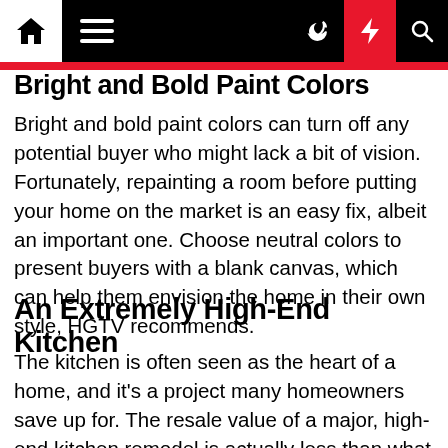[Navigation bar with home icon, menu icon, moon icon, lightning bolt icon, search icon]
Bright and Bold Paint Colors
Bright and bold paint colors can turn off any potential buyer who might lack a bit of vision. Fortunately, repainting a room before putting your home on the market is an easy fix, albeit an important one. Choose neutral colors to present buyers with a blank canvas, which can help them envision the home in their own style, HGTV recommends.
An Extremely High-End Kitchen
The kitchen is often seen as the heart of a home, and it's a project many homeowners save up for. The resale value of a major, high-end kitchen remodel is actually less than what you'll invest in it, however. In